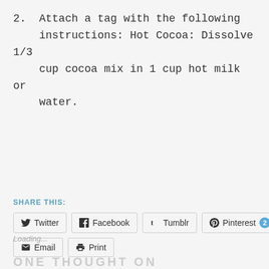2. Attach a tag with the following instructions: Hot Cocoa: Dissolve 1/3 cup cocoa mix in 1 cup hot milk or water.
SHARE THIS:
Twitter  Facebook  Tumblr  Pinterest 2  Email  Print
Loading...
ONE THOUGHT ON